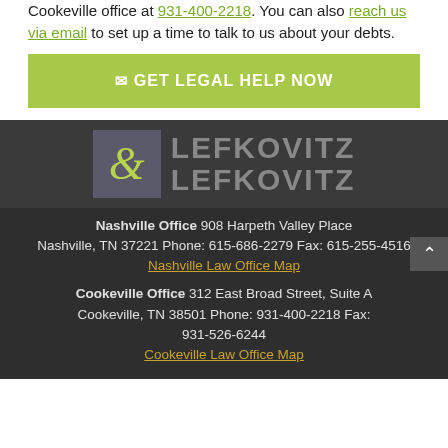Cookeville office at 931-400-2218. You can also reach us via email to set up a time to talk to us about your debts.
✉ GET LEGAL HELP NOW
[Figure (logo): Lefkovitz & Lefkovitz law firm logo with ampersand symbol on gray square background]
Nashville Office 908 Harpeth Valley Place Nashville, TN 37221 Phone: 615-686-2279 Fax: 615-255-4516
Nashville Law Office Map
Cookeville Office 312 East Broad Street, Suite A Cookeville, TN 38501 Phone: 931-400-2218 Fax: 931-526-6244
Cookeville Law Office Map